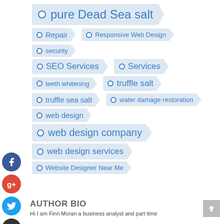pure Dead Sea salt
Repair
Responsive Web Design
security
SEO Services
Services
teeth whitening
truffle salt
truffle sea salt
water damage restoration
web design
web design company
web design services
Website Designer Near Me
AUTHOR BIO
Hi I am Finn Moran a business analyst and part time